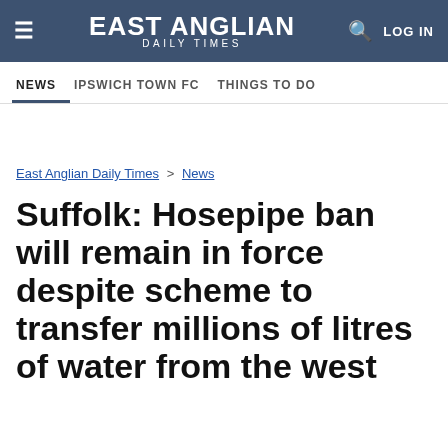EAST ANGLIAN DAILY TIMES
NEWS | IPSWICH TOWN FC | THINGS TO DO
East Anglian Daily Times > News
Suffolk: Hosepipe ban will remain in force despite scheme to transfer millions of litres of water from the west